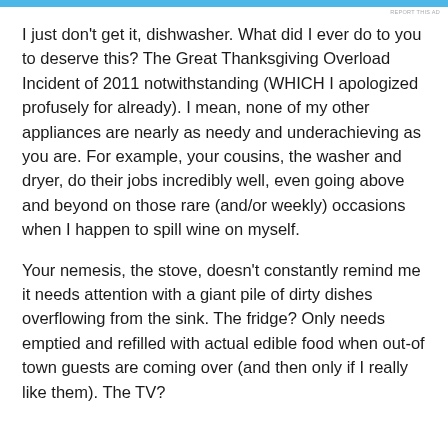[Figure (other): Light blue banner/advertisement bar at the top of the page]
REPORT THIS AD
I just don't get it, dishwasher. What did I ever do to you to deserve this? The Great Thanksgiving Overload Incident of 2011 notwithstanding (WHICH I apologized profusely for already). I mean, none of my other appliances are nearly as needy and underachieving as you are. For example, your cousins, the washer and dryer, do their jobs incredibly well, even going above and beyond on those rare (and/or weekly) occasions when I happen to spill wine on myself.
Your nemesis, the stove, doesn't constantly remind me it needs attention with a giant pile of dirty dishes overflowing from the sink. The fridge? Only needs emptied and refilled with actual edible food when out-of town guests are coming over (and then only if I really like them). The TV?